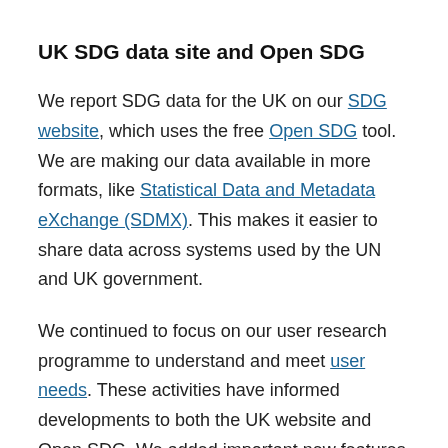UK SDG data site and Open SDG
We report SDG data for the UK on our SDG website, which uses the free Open SDG tool. We are making our data available in more formats, like Statistical Data and Metadata eXchange (SDMX). This makes it easier to share data across systems used by the UN and UK government.
We continued to focus on our user research programme to understand and meet user needs. These activities have informed developments to both the UK website and Open SDG. We added important new features such as progress measure reporting. We